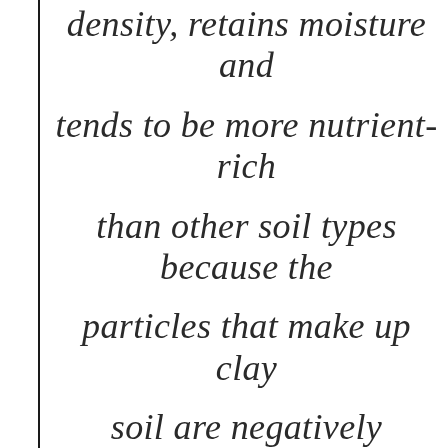density, retains moisture and tends to be more nutrient-rich than other soil types because the particles that make up clay soil are negatively charged. This means they attract and hold